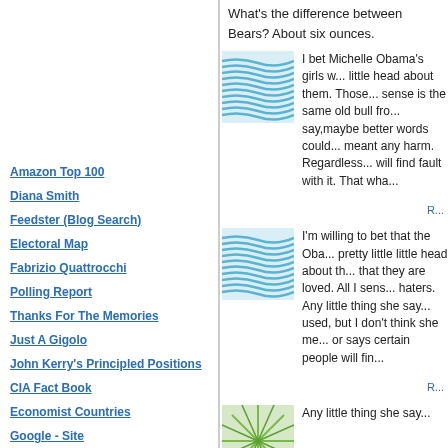What's the difference between Bears? About six ounces.
Amazon Top 100
Diana Smith
Feedster (Blog Search)
Electoral Map
Fabrizio Quattrocchi
Polling Report
Thanks For The Memories
Just A Gigolo
John Kerry's Principled Positions
CIA Fact Book
Economist Countries
Google - Site
TypePad
Google
[Figure (illustration): Blue wave pattern thumbnail image]
I bet Michelle Obama's girls w... little head about them. Those... sense is the same old bull fro... say,maybe better words could... meant any harm. Regardless... will find fault with it. That wha...
[Figure (illustration): Blue wave pattern thumbnail image]
I'm willing to bet that the Oba... pretty little little head about th... that they are loved. All I sens... haters. Any little thing she say... used, but I don't think she me... or says certain people will fin...
[Figure (illustration): Green sunburst pattern thumbnail image]
Any little thing she say...